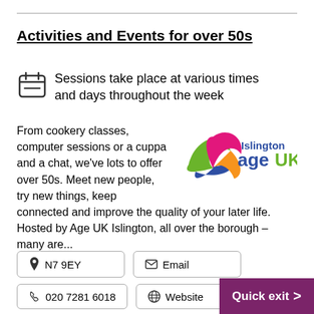Activities and Events for over 50s
Sessions take place at various times and days throughout the week
From cookery classes, computer sessions or a cuppa and a chat, we've lots to offer over 50s. Meet new people, try new things, keep connected and improve the quality of your later life. Hosted by Age UK Islington, all over the borough – many are...
[Figure (logo): Islington Age UK logo — colourful swirling ribbon with text 'Islington age UK']
N7 9EY
Email
020 7281 6018
Website
Quick exit >